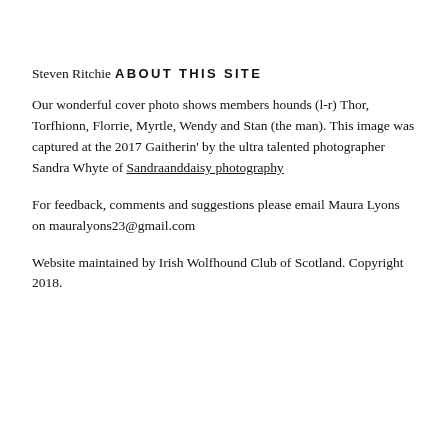Steven Ritchie
ABOUT THIS SITE
Our wonderful cover photo shows members hounds (l-r) Thor, Torfhionn, Florrie, Myrtle, Wendy and Stan (the man). This image was captured at the 2017 Gaitherin' by the ultra talented photographer Sandra Whyte of Sandraanddaisy photography
For feedback, comments and suggestions please email Maura Lyons on mauralyons23@gmail.com
Website maintained by Irish Wolfhound Club of Scotland. Copyright 2018.